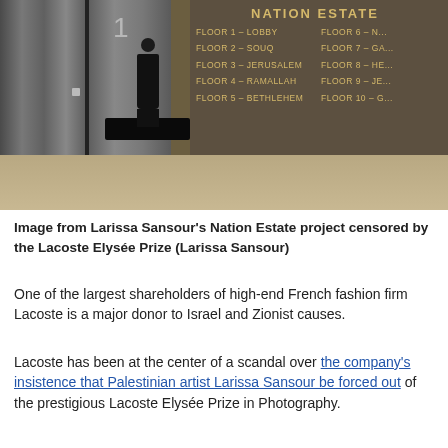[Figure (photo): A person dressed in black sits on a black bench in a building lobby with elevator doors on the left and a large directory sign reading 'NATION ESTATE' with floors listed (Floor 1 Lobby, Floor 2 Souq, Floor 3 Jerusalem, Floor 4 Ramallah, Floor 5 Bethlehem, Floor 6-, Floor 7 GA, Floor 8 HE, Floor 9 JE, Floor 10 G) on the right wall.]
Image from Larissa Sansour's Nation Estate project censored by the Lacoste Elysée Prize (Larissa Sansour)
One of the largest shareholders of high-end French fashion firm Lacoste is a major donor to Israel and Zionist causes.
Lacoste has been at the center of a scandal over the company's insistence that Palestinian artist Larissa Sansour be forced out of the prestigious Lacoste Elysée Prize in Photography.